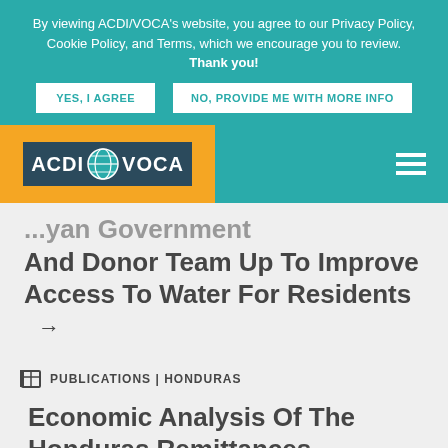By viewing ACDI/VOCA's website, you agree to our Privacy Policy, Cookie Policy, and Terms, which we encourage you to review. Thank you!
YES, I AGREE | NO, PROVIDE ME WITH MORE INFO
[Figure (logo): ACDI/VOCA logo with globe icon on dark teal background, on orange/yellow background navbar]
...yan Government And Donor Team Up To Improve Access To Water For Residents →
PUBLICATIONS | HONDURAS
Economic Analysis Of The Honduras Remittances Ecosystem →